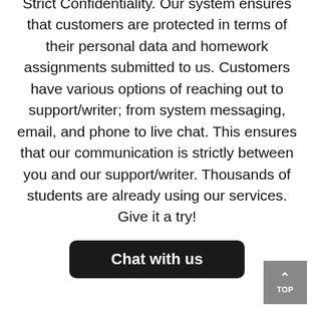Strict Confidentiality. Our system ensures that customers are protected in terms of their personal data and homework assignments submitted to us. Customers have various options of reaching out to support/writer; from system messaging, email, and phone to live chat. This ensures that our communication is strictly between you and our support/writer. Thousands of students are already using our services. Give it a try!
Chat with us